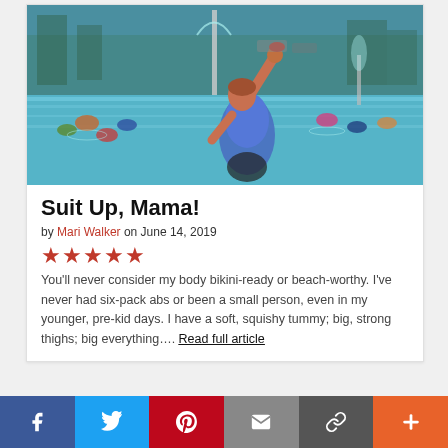[Figure (photo): A woman in a blue swimsuit at a public pool, raising her arm, with children swimming around her and splash park features in the background.]
Suit Up, Mama!
by Mari Walker on June 14, 2019
[Figure (other): Five red star rating icons]
You’ll never consider my body bikini-ready or beach-worthy. I’ve never had six-pack abs or been a small person, even in my younger, pre-kid days. I have a soft, squishy tummy; big, strong thighs; big everything…. Read full article
Social share bar: Facebook, Twitter, Pinterest, Email, Link, Plus